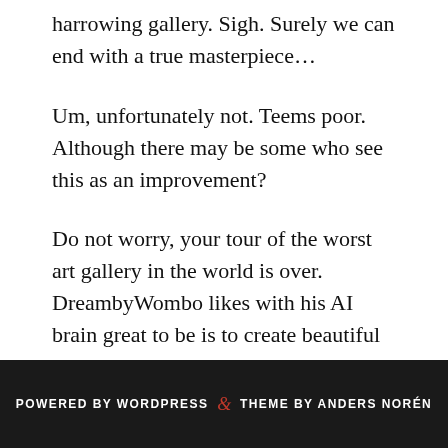harrowing gallery. Sigh. Surely we can end with a true masterpiece…
Um, unfortunately not. Teems poor. Although there may be some who see this as an improvement?
Do not worry, your tour of the worst art gallery in the world is over. DreambyWombo likes with his AI brain great to be is to create beautiful landscapes, but when it comes to League of Legends Champions, Riot knows perhaps best…
POWERED BY WORDPRESS & THEME BY ANDERS NORÉN